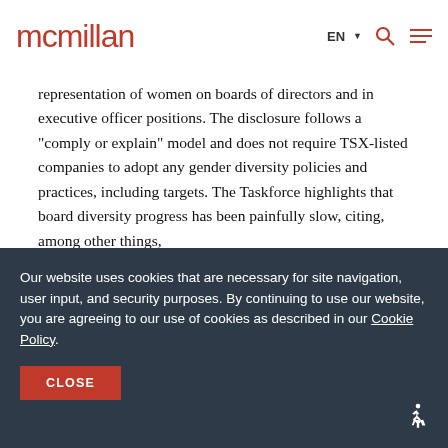mcmillan | EN ▾ 🔍 ☰
representation of women on boards of directors and in executive officer positions. The disclosure follows a "comply or explain" model and does not require TSX-listed companies to adopt any gender diversity policies and practices, including targets. The Taskforce highlights that board diversity progress has been painfully slow, citing, among other things,
Our website uses cookies that are necessary for site navigation, user input, and security purposes. By continuing to use our website, you are agreeing to our use of cookies as described in our Cookie Policy.
CLOSE